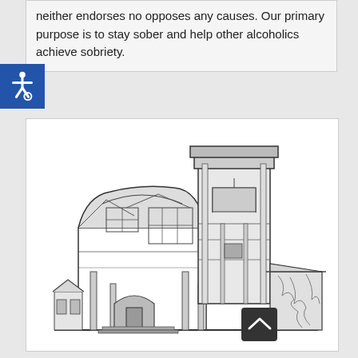neither endorses no opposes any causes. Our primary purpose is to stay sober and help other alcoholics achieve sobriety.
[Figure (illustration): Black and white line drawing/sketch of a church or community building with a prominent bell tower, arched entrance, and multi-story facade with detailed architectural features including windows, columns, and decorative stonework.]